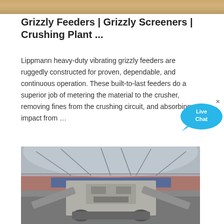[Figure (photo): Top banner image - sandy/earth toned surface texture]
Grizzly Feeders | Grizzly Screeners | Crushing Plant ...
Lippmann heavy-duty vibrating grizzly feeders are ruggedly constructed for proven, dependable, and continuous operation. These built-to-last feeders do a superior job of metering the material to the crusher, removing fines from the crushing circuit, and absorbing impact from …
[Figure (other): Live Chat bubble button overlay]
[Figure (photo): Industrial mobile crushing plant inside a large industrial building/warehouse with steel roof trusses. The machine appears to be a mobile jaw crusher with conveyor belts.]